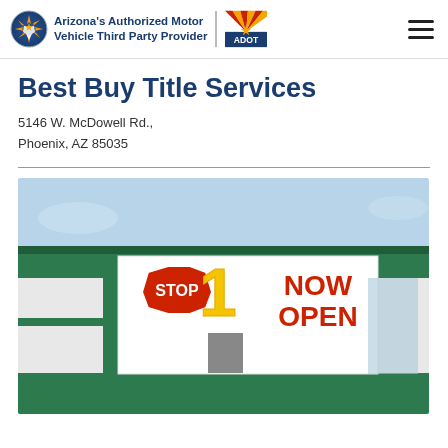Arizona's Authorized Motor Vehicle Third Party Provider
Best Buy Title Services
5146 W. McDowell Rd.,
Phoenix, AZ 85035
[Figure (photo): Exterior photo of a building with green and white paint, featuring a banner that reads '1 STOP NOW OPEN']